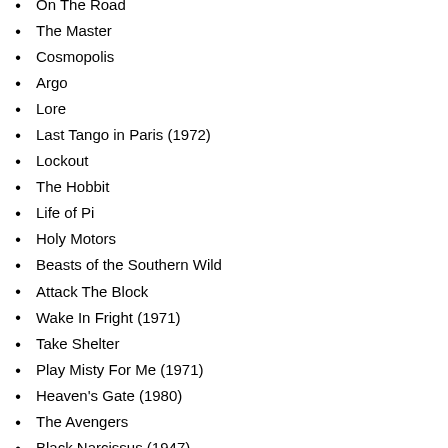On The Road
The Master
Cosmopolis
Argo
Lore
Last Tango in Paris (1972)
Lockout
The Hobbit
Life of Pi
Holy Motors
Beasts of the Southern Wild
Attack The Block
Wake In Fright (1971)
Take Shelter
Play Misty For Me (1971)
Heaven's Gate (1980)
The Avengers
Black Narcissus (1947)
Safe House
Source Code
Dark Shadows
Margin Call
The Artist
Woman in the Fifth
Goon
The Raid
The Hunger Games
This Must Be the Place
A Dangerous Method
The Dark Knight Rises